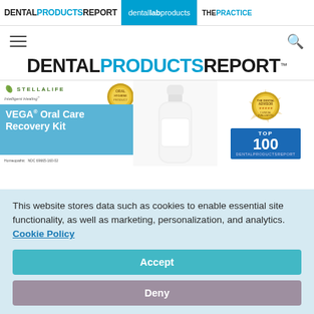DENTAL PRODUCTS REPORT | dental lab products | THE PRACTICE
[Figure (screenshot): Website screenshot showing Dental Products Report navigation bar, main logo, product image of StellaLife VEGA Oral Care Recovery Kit with bottle and award badges, overlaid by a cookie consent banner with Accept and Deny buttons.]
This website stores data such as cookies to enable essential site functionality, as well as marketing, personalization, and analytics. Cookie Policy
Accept
Deny